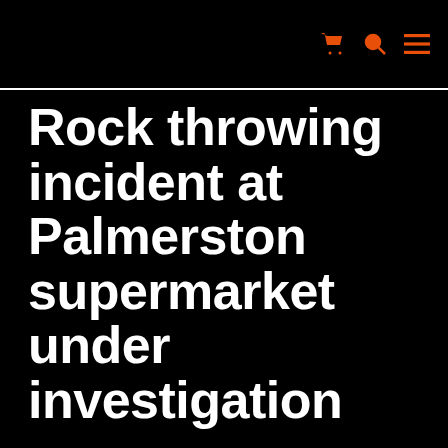[navigation icons: cart, search, menu]
Rock throwing incident at Palmerston supermarket under investigation
by Independent Staff | Mar 24, 2021 | Cops | 1 comment